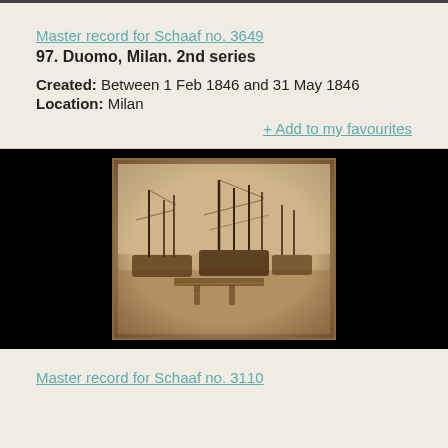Master record for Schaaf no. 3649
97. Duomo, Milan. 2nd series
Created: Between 1 Feb 1846 and 31 May 1846
Location: Milan
+ Add to my favourites
[Figure (photo): Historical sepia photograph showing sailing ships docked at a harbor or port, with masts visible against a pale sky. The photograph has aged borders and is mounted on a dark background.]
Master record for Schaaf no. 3110